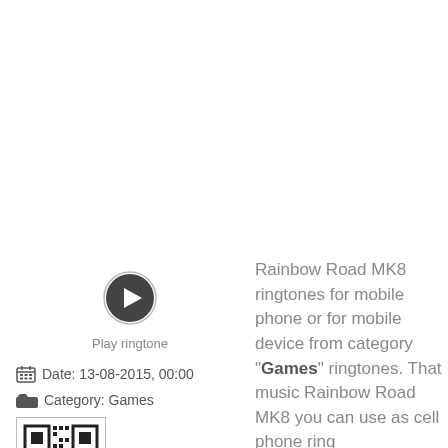[Figure (other): Play ringtone button - circular play icon]
Play ringtone
Date: 13-08-2015, 00:00
Category: Games
[Figure (other): QR code for the ringtone]
Rainbow Road MK8 ringtones for mobile phone or for mobile device from category "Games" ringtones. That music Rainbow Road MK8 you can use as cell phone ring